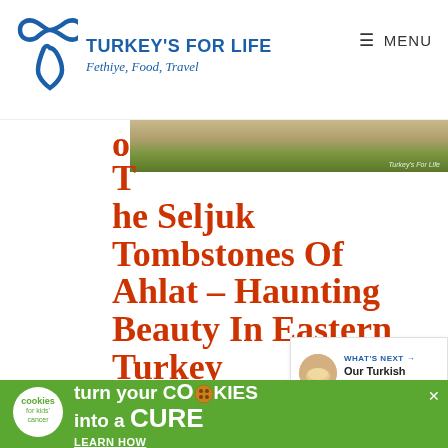TURKEY'S FOR LIFE — Fethiye, Food, Travel
[Figure (photo): Partial outdoor/landscape photo strip showing sandy/stone ground and green vegetation with a 'Turkey's For Life' watermark]
The Seljuk Tombstones Of Ahlat – Haunting Beauty In Eastern Turkey
[Figure (infographic): Share button icon (circular with share symbol)]
Okay, so where are we up to? W… showed you the map of our route from Datnes to Tatvan on our little mini
[Figure (infographic): What's Next promotional box showing 'Our Turkish Rice Recipe' with food photo]
[Figure (infographic): Advertisement banner: cookies for kids' cancer — turn your cookies into a CURE LEARN HOW]